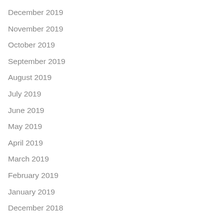December 2019
November 2019
October 2019
September 2019
August 2019
July 2019
June 2019
May 2019
April 2019
March 2019
February 2019
January 2019
December 2018